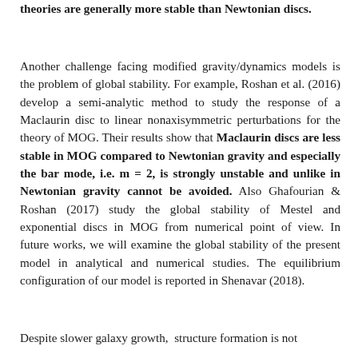theories are generally more stable than Newtonian discs.
Another challenge facing modified gravity/dynamics models is the problem of global stability. For example, Roshan et al. (2016) develop a semi-analytic method to study the response of a Maclaurin disc to linear nonaxisymmetric perturbations for the theory of MOG. Their results show that Maclaurin discs are less stable in MOG compared to Newtonian gravity and especially the bar mode, i.e. m = 2, is strongly unstable and unlike in Newtonian gravity cannot be avoided. Also Ghafourian & Roshan (2017) study the global stability of Mestel and exponential discs in MOG from numerical point of view. In future works, we will examine the global stability of the present model in analytical and numerical studies. The equilibrium configuration of our model is reported in Shenavar (2018).
Despite slower galaxy growth,  structure formation is not